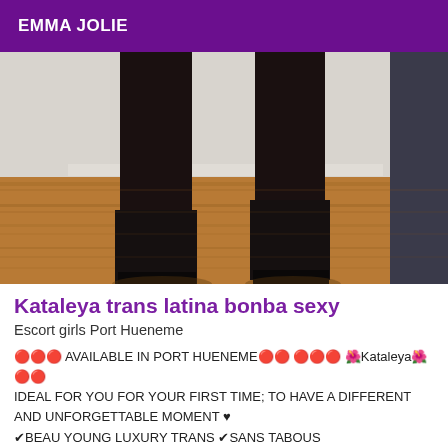EMMA JOLIE
[Figure (photo): Cropped photo showing legs of a person wearing dark stockings and black high-heeled boots, standing on a wood floor against a white wall.]
Kataleya trans latina bonba sexy
Escort girls Port Hueneme
🔴🔴🔴 AVAILABLE IN PORT HUENEME🔴🔴 🔴🔴🔴 🌺Kataleya🌺🔴🔴 IDEAL FOR YOU FOR YOUR FIRST TIME; TO HAVE A DIFFERENT AND UNFORGETTABLE MOMENT ♥ ✔BEAU YOUNG LUXURY TRANS ✔SANS TABOUS ✔TRÈS HOT Hello I'm Kataleya A luxury for all men of